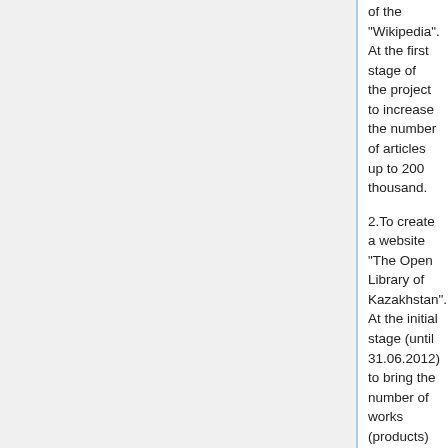of the “Wikipedia”. At the first stage of the project to increase the number of articles up to 200 thousand.
2.To create a website “The Open Library of Kazakhstan”. At the initial stage (until 31.06.2012) to bring the number of works (products) (books, audio, video and photo materials) placed on the website under the CC license to bring up to 250.
3. To get materials from archives and museums of Kazakhstan on the basis of the CC license. At the initial stage (until 01.10.2011) to obtain permission materials from the Central Museum and the Central Archive of Kazakhstan.
Necessary resources
People